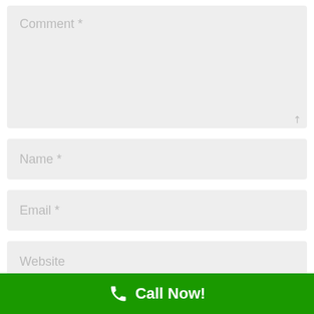[Figure (screenshot): Comment textarea input field with placeholder text 'Comment *' and resize handle]
[Figure (screenshot): Name text input field with placeholder text 'Name *']
[Figure (screenshot): Email text input field with placeholder text 'Email *']
[Figure (screenshot): Website text input field with placeholder text 'Website']
Save my name, email, and website in this browser
Call Now!